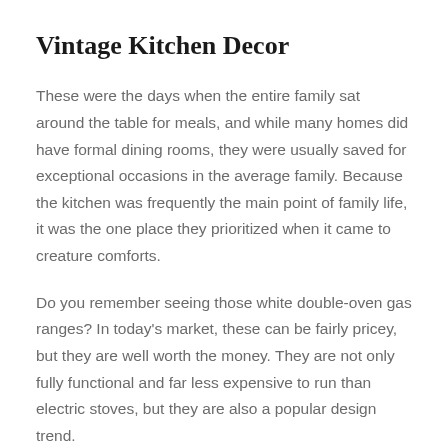Vintage Kitchen Decor
These were the days when the entire family sat around the table for meals, and while many homes did have formal dining rooms, they were usually saved for exceptional occasions in the average family. Because the kitchen was frequently the main point of family life, it was the one place they prioritized when it came to creature comforts.
Do you remember seeing those white double-oven gas ranges? In today’s market, these can be fairly pricey, but they are well worth the money. They are not only fully functional and far less expensive to run than electric stoves, but they are also a popular design trend.